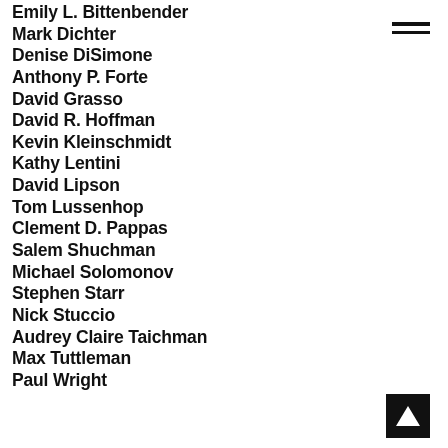Emily L. Bittenbender
Mark Dichter
Denise DiSimone
Anthony P. Forte
David Grasso
David R. Hoffman
Kevin Kleinschmidt
Kathy Lentini
David Lipson
Tom Lussenhop
Clement D. Pappas
Salem Shuchman
Michael Solomonov
Stephen Starr
Nick Stuccio
Audrey Claire Taichman
Max Tuttleman
Paul Wright
[Figure (logo): Black square with white upward-pointing triangle/arrow logo (navigation or app icon)]